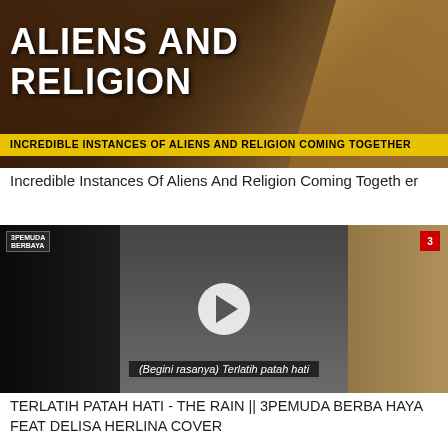[Figure (screenshot): Thumbnail image with text 'ALIENS AND RELIGION' in large white bold letters on a dark background with ancient imagery, and yellow subtitle band reading 'INCREDIBLE INSTANCES OF ALIENS AND RELIGION COMING TOGETHER']
Incredible Instances Of Aliens And Religion Coming Together
[Figure (screenshot): Video thumbnail of a music session showing performers including a female vocalist at a microphone with earphones, a drummer in background, and another performer. Play button overlay in center. Subtitle at bottom: '(Begini rasanya) Terlatih patah hati'. Channel logo top-left, red badge number 3 top-right.]
TERLATIH PATAH HATI - THE RAIN || 3PEMUDA BERBAHAYA FEAT DELISA HERLINA COVER